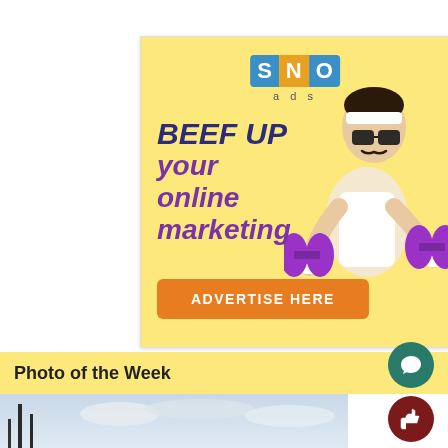[Figure (infographic): SNO ads advertisement banner on yellow background. Features SNO logo with blue-orange letter tiles, text 'BEEF UP your online marketing' in bold dark blue and purple italic font, a person lifting purple dumbbells wearing white headband and glasses, and an orange 'ADVERTISE HERE' button.]
Photo of the Week
[Figure (photo): Partial photo visible at the bottom showing a sky with clouds and some dark vertical structures on the left side.]